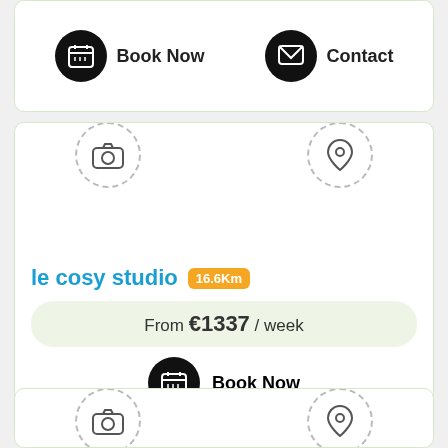[Figure (screenshot): Top card with Book Now and Contact buttons with black circle icons]
[Figure (infographic): Property listing card for 'le cosy studio' showing dashed-circle camera and map pin icons, property name with distance badge 16.6Km, price From €1337 / week, and Book Now button]
le cosy studio 16.6Km
From €1337 / week
Book Now
[Figure (screenshot): Bottom card (partial) showing dashed-circle camera and map pin icons at the top]